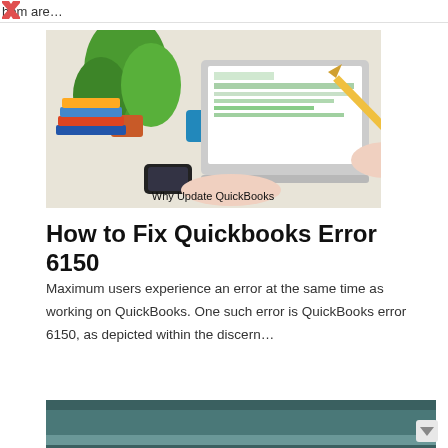hem are…
[Figure (photo): Photo of a person working on a laptop at a desk with books, a plant, coffee mug, glasses, and smartphone. Text overlay reads 'Why Update QuickBooks'.]
How to Fix Quickbooks Error 6150
Maximum users experience an error at the same time as working on QuickBooks. One such error is QuickBooks error 6150, as depicted within the discern…
[Figure (photo): Partial photo of a dark-themed screen or device, cropped at the bottom of the page.]